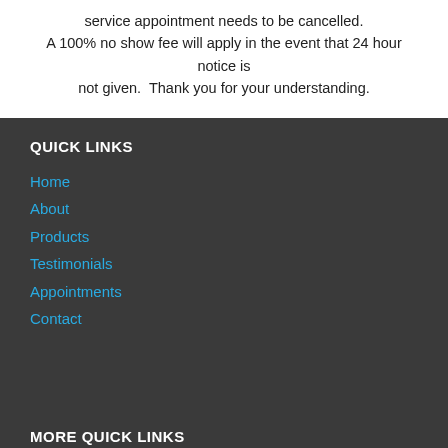service appointment needs to be cancelled. A 100% no show fee will apply in the event that 24 hour notice is not given.  Thank you for your understanding.
QUICK LINKS
Home
About
Products
Testimonials
Appointments
Contact
MORE QUICK LINKS
Makeup
Eye Lash & Brow
Eyelash Extensions